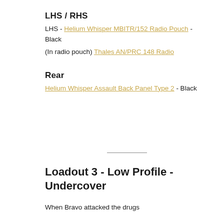LHS / RHS
LHS - Helium Whisper MBITR/152 Radio Pouch - Black
(In radio pouch) Thales AN/PRC 148 Radio
Rear
Helium Whisper Assault Back Panel Type 2 - Black
Loadout 3 - Low Profile - Undercover
When Bravo attacked the drugs